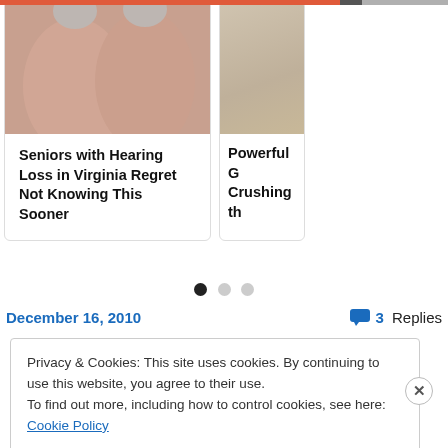[Figure (photo): Close-up photo of two fingers/thumbs showing dry or cracked skin, held up against a grey background, partially cropped.]
Seniors with Hearing Loss in Virginia Regret Not Knowing This Sooner
[Figure (photo): Partially visible photo on the right side, showing what appears to be a fluffy/textured background with the beginning of text 'Powerful G Crushing th'.]
Powerful G Crushing th
[Figure (infographic): Carousel navigation dots: one filled black dot, two light grey dots.]
December 16, 2010
3 Replies
Privacy & Cookies: This site uses cookies. By continuing to use this website, you agree to their use.
To find out more, including how to control cookies, see here: Cookie Policy
Close and accept